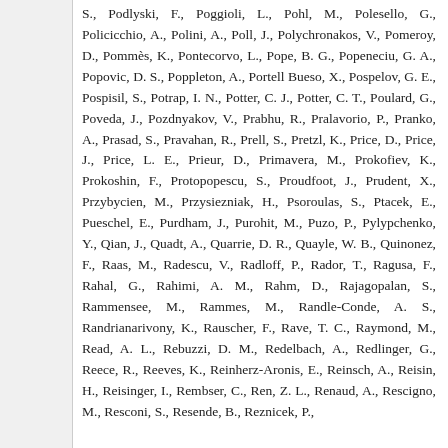S., Podlyski, F., Poggioli, L., Pohl, M., Polesello, G., Policicchio, A., Polini, A., Poll, J., Polychronakos, V., Pomeroy, D., Pommès, K., Pontecorvo, L., Pope, B. G., Popeneciu, G. A., Popovic, D. S., Poppleton, A., Portell Bueso, X., Pospelov, G. E., Pospisil, S., Potrap, I. N., Potter, C. J., Potter, C. T., Poulard, G., Poveda, J., Pozdnyakov, V., Prabhu, R., Pralavorio, P., Pranko, A., Prasad, S., Pravahan, R., Prell, S., Pretzl, K., Price, D., Price, J., Price, L. E., Prieur, D., Primavera, M., Prokofiev, K., Prokoshin, F., Protopopescu, S., Proudfoot, J., Prudent, X., Przybycien, M., Przysiezniak, H., Psoroulas, S., Ptacek, E., Pueschel, E., Purdham, J., Purohit, M., Puzo, P., Pylypchenko, Y., Qian, J., Quadt, A., Quarrie, D. R., Quayle, W. B., Quinonez, F., Raas, M., Radescu, V., Radloff, P., Rador, T., Ragusa, F., Rahal, G., Rahimi, A. M., Rahm, D., Rajagopalan, S., Rammensee, M., Rammes, M., Randle-Conde, A. S., Randrianarivony, K., Rauscher, F., Rave, T. C., Raymond, M., Read, A. L., Rebuzzi, D. M., Redelbach, A., Redlinger, G., Reece, R., Reeves, K., Reinherz-Aronis, E., Reinsch, A., Reisin, H., Reisinger, I., Rembser, C., Ren, Z. L., Renaud, A., Rescigno, M., Resconi, S., Resende, B., Reznicek, P.,